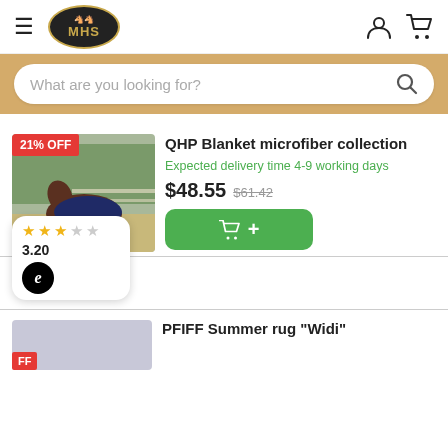[Figure (screenshot): MHS website header with hamburger menu, MHS logo oval, user icon, and cart icon]
[Figure (screenshot): Search bar with placeholder text 'What are you looking for?' on tan/gold background]
QHP Blanket microfiber collection
Expected delivery time 4-9 working days
$48.55  $61.42
[Figure (photo): Horse wearing a dark navy blue blanket/rug standing outdoors with trees in background. 21% OFF badge in top left corner.]
3.20
PFIFF Summer rug "Widi"